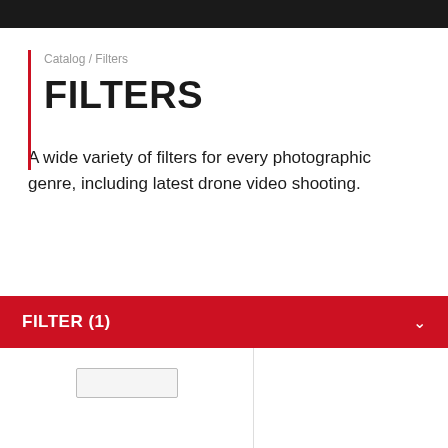Catalog / Filters
FILTERS
A wide variety of filters for every photographic genre, including latest drone video shooting.
FILTER (1)
[Figure (screenshot): Product grid area with two columns separated by a vertical line, showing placeholder product items]